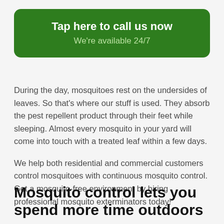[Figure (other): Green rounded rectangle button with text 'Tap here to call us now' and 'We're available 24/7']
During the day, mosquitoes rest on the undersides of leaves. So that's where our stuff is used. They absorb the pest repellent product through their feet while sleeping. Almost every mosquito in your yard will come into touch with a treated leaf within a few days.
We help both residential and commercial customers control mosquitoes with continuous mosquito control. Get a mosquito-free environment by hiring professional mosquito exterminators today!
Mosquito control lets you spend more time outdoors